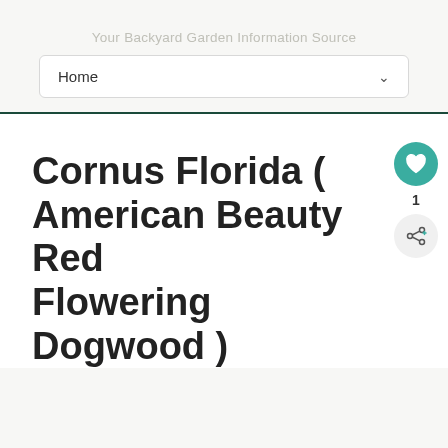Your Backyard Garden Information Source
Home
Cornus Florida ( American Beauty Red Flowering Dogwood )